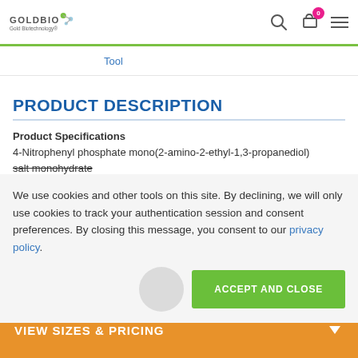GOLDBIO Gold Biotechnology®
Tool
PRODUCT DESCRIPTION
Product Specifications
4-Nitrophenyl phosphate mono(2-amino-2-ethyl-1,3-propanediol) salt monohydrate
We use cookies and other tools on this site. By declining, we will only use cookies to track your authentication session and consent preferences. By closing this message, you consent to our privacy policy.
ACCEPT AND CLOSE
VIEW SIZES & PRICING